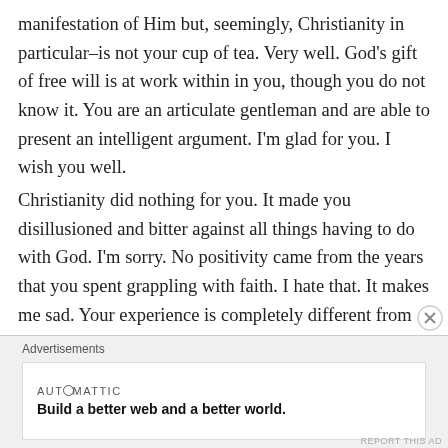manifestation of Him but, seemingly, Christianity in particular–is not your cup of tea. Very well. God's gift of free will is at work within in you, though you do not know it. You are an articulate gentleman and are able to present an intelligent argument. I'm glad for you. I wish you well.
Christianity did nothing for you. It made you disillusioned and bitter against all things having to do with God. I'm sorry. No positivity came from the years that you spent grappling with faith. I hate that. It makes me sad. Your experience is completely different from mine. My faith, my Christianity has saved me. Yes, it has saved me in the afterlife. that is part of my belief process. but
Advertisements
[Figure (other): Automattic advertisement banner: 'AUT⊙MATTIC — Build a better web and a better world.']